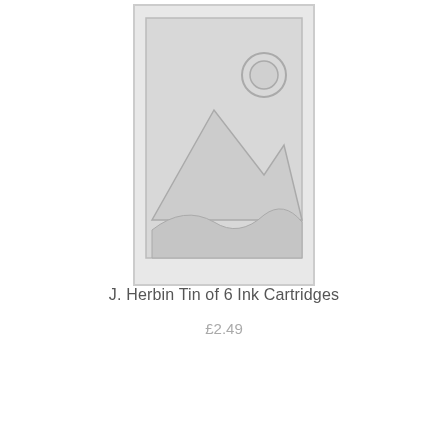[Figure (illustration): Placeholder image icon: a grey rectangle with an outline of mountains and a circle (sun), representing a missing product image.]
J. Herbin Tin of 6 Ink Cartridges
£2.49